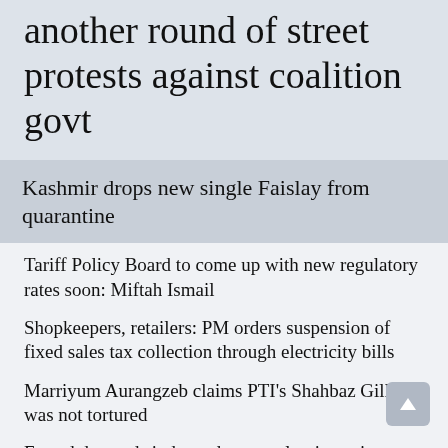another round of street protests against coalition govt
Kashmir drops new single Faislay from quarantine
Tariff Policy Board to come up with new regulatory rates soon: Miftah Ismail
Shopkeepers, retailers: PM orders suspension of fixed sales tax collection through electricity bills
Marriyum Aurangzeb claims PTI's Shahbaz Gill was not tortured
Fawad demands independent panel to investigate 'torture' of Shahbaz Gill
PMD warns Karachi at risk of urban flooding